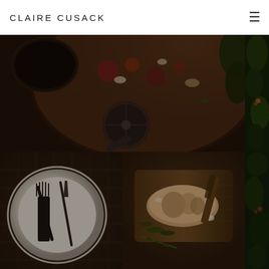CLAIRE CUSACK
[Figure (photo): Dark moody overhead food photography showing pizza or flatbread with toppings and a pizza cutter wheel, dark rustic styling]
[Figure (photo): Dark moody food photography collage: bottom left shows a white plate with dark antique fork and knife on woven mat; bottom right shows sliced meat or terrine on wooden board with herbs and knife]
[Figure (photo): Narrow vertical strip on right side showing dark green foliage and food elements]